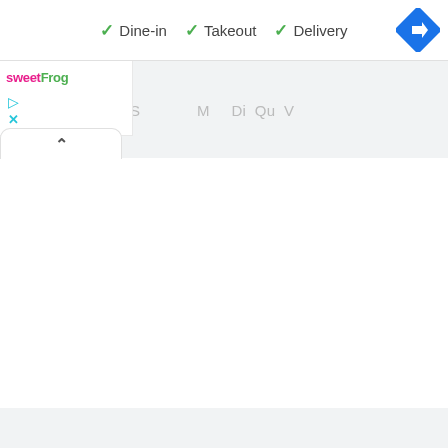✓ Dine-in  ✓ Takeout  ✓ Delivery
[Figure (screenshot): Google Maps navigation/directions icon — blue diamond shape with white right-turn arrow]
[Figure (logo): sweetFrog frozen yogurt logo — 'sweet' in pink/magenta, 'Frog' in green]
[Figure (screenshot): Small cyan play triangle icon (ad indicator) and cyan X close icon below it]
^ (collapse tab handle)
Partially visible tab header text (truncated)